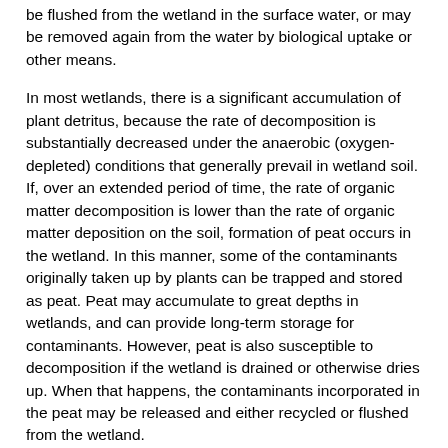be flushed from the wetland in the surface water, or may be removed again from the water by biological uptake or other means.
In most wetlands, there is a significant accumulation of plant detritus, because the rate of decomposition is substantially decreased under the anaerobic (oxygen-depleted) conditions that generally prevail in wetland soil. If, over an extended period of time, the rate of organic matter decomposition is lower than the rate of organic matter deposition on the soil, formation of peat occurs in the wetland. In this manner, some of the contaminants originally taken up by plants can be trapped and stored as peat. Peat may accumulate to great depths in wetlands, and can provide long-term storage for contaminants. However, peat is also susceptible to decomposition if the wetland is drained or otherwise dries up. When that happens, the contaminants incorporated in the peat may be released and either recycled or flushed from the wetland.